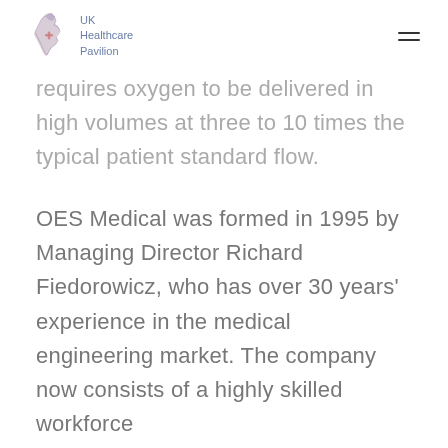UK Healthcare Pavilion
requires oxygen to be delivered in high volumes at three to 10 times the typical patient standard flow.
OES Medical was formed in 1995 by Managing Director Richard Fiedorowicz, who has over 30 years' experience in the medical engineering market. The company now consists of a highly skilled workforce